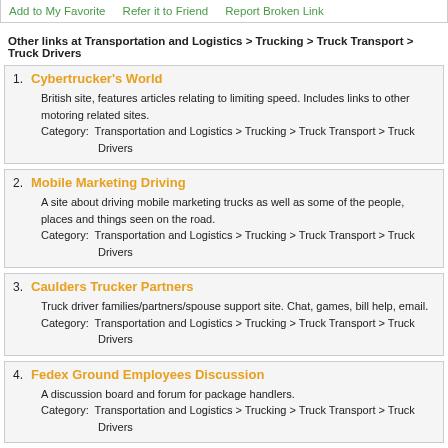Add to My Favorite   Refer it to Friend   Report Broken Link
Other links at Transportation and Logistics > Trucking > Truck Transport > Truck Drivers
1. Cybertrucker's World
British site, features articles relating to limiting speed. Includes links to other motoring related sites.
Category: Transportation and Logistics > Trucking > Truck Transport > Truck Drivers
2. Mobile Marketing Driving
A site about driving mobile marketing trucks as well as some of the people, places and things seen on the road.
Category: Transportation and Logistics > Trucking > Truck Transport > Truck Drivers
3. Caulders Trucker Partners
Truck driver families/partners/spouse support site. Chat, games, bill help, email.
Category: Transportation and Logistics > Trucking > Truck Transport > Truck Drivers
4. Fedex Ground Employees Discussion
A discussion board and forum for package handlers.
Category: Transportation and Logistics > Trucking > Truck Transport > Truck Drivers